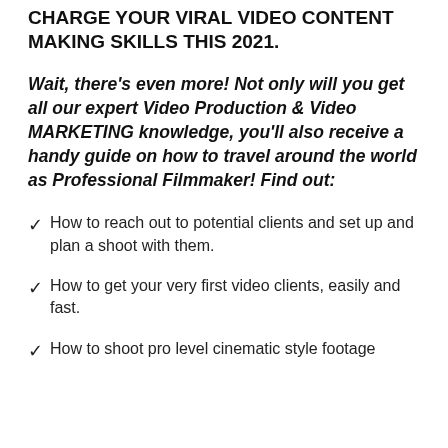CHARGE YOUR VIRAL VIDEO CONTENT MAKING SKILLS this 2021.
Wait, there's even more! Not only will you get all our expert Video Production & Video MARKETING knowledge, you'll also receive a handy guide on how to travel around the world as Professional Filmmaker! Find out:
How to reach out to potential clients and set up and plan a shoot with them.
How to get your very first video clients, easily and fast.
How to shoot pro level cinematic style footage